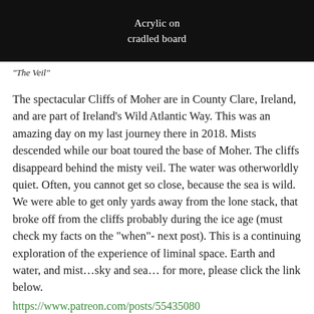[Figure (photo): Black banner area showing text 'Acrylic on cradled board' in white on black background]
“The Veil”
The spectacular Cliffs of Moher are in County Clare, Ireland, and are part of Ireland’s Wild Atlantic Way. This was an amazing day on my last journey there in 2018. Mists descended while our boat toured the base of Moher. The cliffs disappeard behind the misty veil. The water was otherworldly quiet. Often, you cannot get so close, because the sea is wild. We were able to get only yards away from the lone stack, that broke off from the cliffs probably during the ice age (must check my facts on the “when”- next post). This is a continuing exploration of the experience of liminal space. Earth and water, and mist…sky and sea… for more, please click the link below.
https://www.patreon.com/posts/55435080